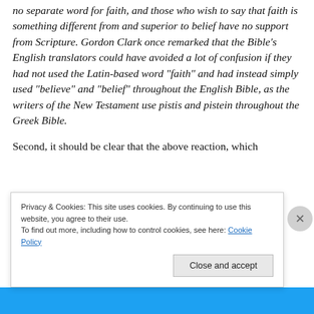no separate word for faith, and those who wish to say that faith is something different from and superior to belief have no support from Scripture. Gordon Clark once remarked that the Bible’s English translators could have avoided a lot of confusion if they had not used the Latin-based word “faith” and had instead simply used “believe” and “belief” throughout the English Bible, as the writers of the New Testament use pistis and pistein throughout the Greek Bible.
Second, it should be clear that the above reaction, which
Privacy & Cookies: This site uses cookies. By continuing to use this website, you agree to their use.
To find out more, including how to control cookies, see here: Cookie Policy